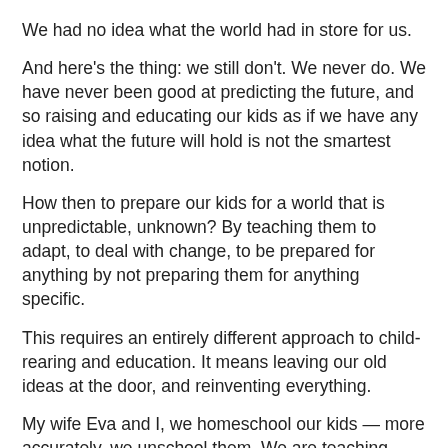We had no idea what the world had in store for us.
And here's the thing: we still don't. We never do. We have never been good at predicting the future, and so raising and educating our kids as if we have any idea what the future will hold is not the smartest notion.
How then to prepare our kids for a world that is unpredictable, unknown? By teaching them to adapt, to deal with change, to be prepared for anything by not preparing them for anything specific.
This requires an entirely different approach to child-rearing and education. It means leaving our old ideas at the door, and reinventing everything.
My wife Eva and I, we homeschool our kids — more accurately, we unschool them. We are teaching them to learn on their own, without us handing knowledge down to them and testing them on that knowledge.